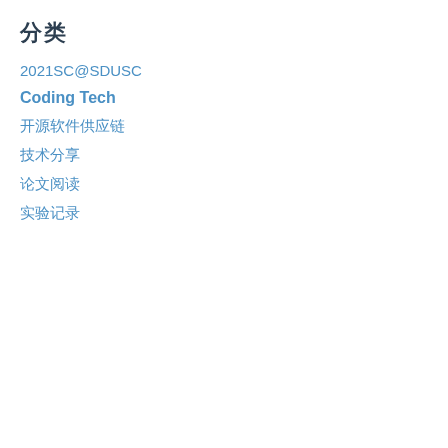分类
2021SC@SDUSC
Coding Tech
开源软件供应链
技术分享
论文阅读
实验记录
[Figure (photo): Decorative divider with green plant leaves]
归档
2022年5月
2021年12月
2021年11月
2021年10月